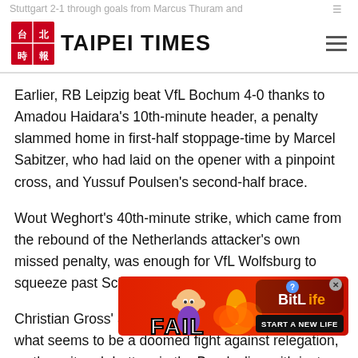Stuttgart 2-1 through goals from Marcus Thuram and ... | TAIPEI TIMES
Earlier, RB Leipzig beat VfL Bochum 4-0 thanks to Amadou Haidara's 10th-minute header, a penalty slammed home in first-half stoppage-time by Marcel Sabitzer, who had laid on the opener with a pinpoint cross, and Yussuf Poulsen's second-half brace.
Wout Weghort's 40th-minute strike, which came from the rebound of the Netherlands attacker's own missed penalty, was enough for VfL Wolfsburg to squeeze past Schalke 04.
Christian Gross' Schalke must turn their attention to what seems to be a doomed fight against relegation, as they sit rock-bottom in the Bundesliga with just one league win all season...
[Figure (screenshot): BitLife advertisement banner: FAIL - START A NEW LIFE game advertisement with cartoon character and fire graphics]